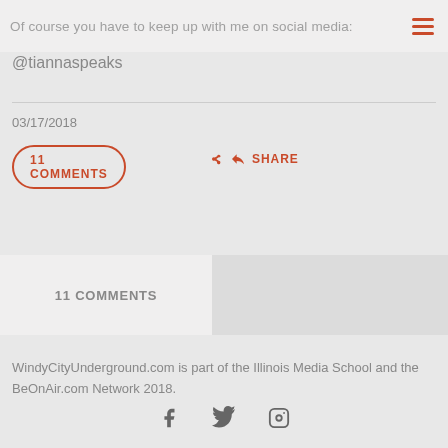Of course you have to keep up with me on social media:
@tiannaspeaks
03/17/2018
11 COMMENTS
SHARE
11 COMMENTS
WindyCityUnderground.com is part of the Illinois Media School and the BeOnAir.com Network 2018.